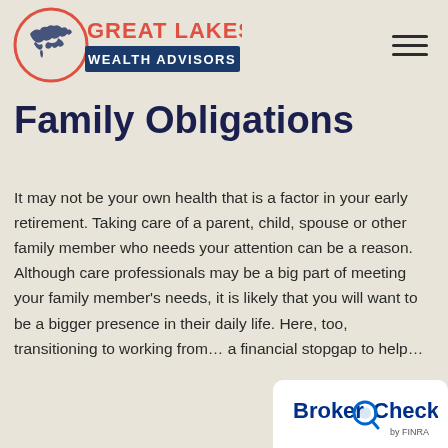[Figure (logo): Great Lakes Wealth Advisors logo — circular red-outline icon with Great Lakes map shape, text 'GREAT LAKES' in red and 'WEALTH ADVISORS' in dark blue banner]
Family Obligations
It may not be your own health that is a factor in your early retirement. Taking care of a parent, child, spouse or other family member who needs your attention can be a reason. Although care professionals may be a big part of meeting your family member’s needs, it is likely that you will want to be a bigger presence in their daily life. Here, too, transitioning to working from… a financial stopgap to help…
[Figure (logo): BrokerCheck by FINRA badge — white rounded rectangle with BrokerCheck text and magnifying glass icon, 'by FINRA' in small text]